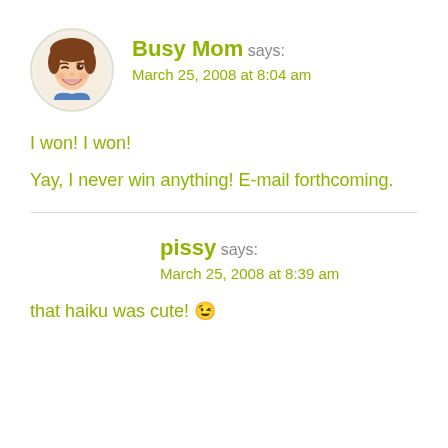[Figure (illustration): Circular avatar of an animated woman with brown hair, winking and smiling, wearing a blue top]
Busy Mom says:
March 25, 2008 at 8:04 am
I won! I won!
Yay, I never win anything! E-mail forthcoming.
pissy says:
March 25, 2008 at 8:39 am
that haiku was cute! 😉